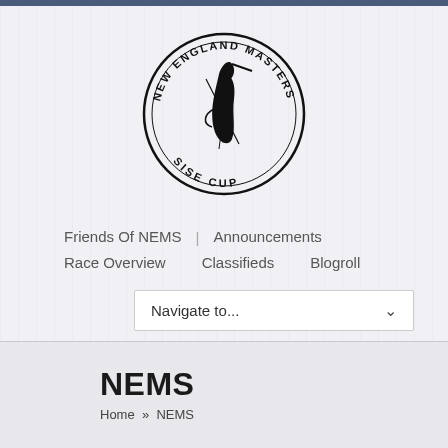[Figure (logo): New England Masters Sise Cup circular logo with a stylized bird/heron and crossed needles or swords in the center, text around the circle border reading NEW ENGLAND MASTERS SISE CUP]
Friends Of NEMS
Announcements
Race Overview
Classifieds
Blogroll
Navigate to...
NEMS
Home » NEMS